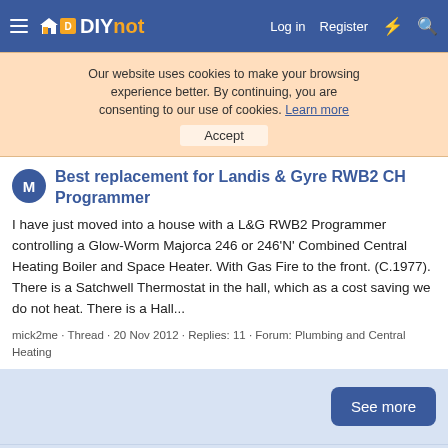DIYnot | Log in | Register
Our website uses cookies to make your browsing experience better. By continuing, you are consenting to our use of cookies. Learn more | Accept
Best replacement for Landis & Gyre RWB2 CH Programmer
I have just moved into a house with a L&G RWB2 Programmer controlling a Glow-Worm Majorca 246 or 246'N' Combined Central Heating Boiler and Space Heater. With Gas Fire to the front. (C.1977). There is a Satchwell Thermostat in the hall, which as a cost saving we do not heat. There is a Hall...
mick2me · Thread · 20 Nov 2012 · Replies: 11 · Forum: Plumbing and Central Heating
See more
mick2me
DIYnot | Contact us | Terms and rules | Privacy policy | Help | Home